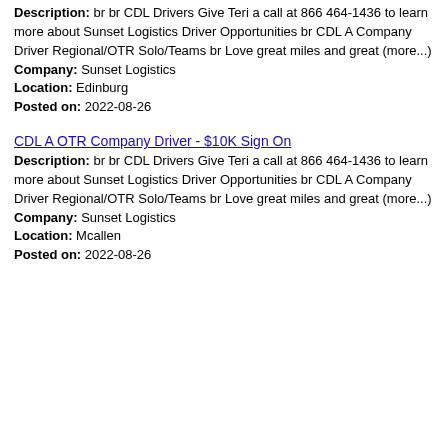Description: br br CDL Drivers Give Teri a call at 866 464-1436 to learn more about Sunset Logistics Driver Opportunities br CDL A Company Driver Regional/OTR Solo/Teams br Love great miles and great (more...)
Company: Sunset Logistics
Location: Edinburg
Posted on: 2022-08-26
CDL A OTR Company Driver - $10K Sign On
Description: br br CDL Drivers Give Teri a call at 866 464-1436 to learn more about Sunset Logistics Driver Opportunities br CDL A Company Driver Regional/OTR Solo/Teams br Love great miles and great (more...)
Company: Sunset Logistics
Location: Mcallen
Posted on: 2022-08-26